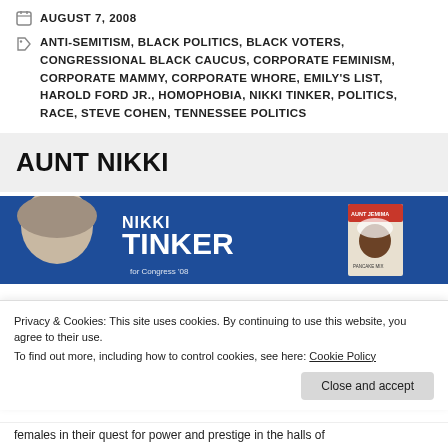AUGUST 7, 2008
ANTI-SEMITISM, BLACK POLITICS, BLACK VOTERS, CONGRESSIONAL BLACK CAUCUS, CORPORATE FEMINISM, CORPORATE MAMMY, CORPORATE WHORE, EMILY'S LIST, HAROLD FORD JR., HOMOPHOBIA, NIKKI TINKER, POLITICS, RACE, STEVE COHEN, TENNESSEE POLITICS
AUNT NIKKI
[Figure (photo): A composite image showing a woman's face on the left, a Nikki Tinker for Congress 2008 campaign banner in the center, and an Aunt Jemima product box on the right, all on a blue background.]
Privacy & Cookies: This site uses cookies. By continuing to use this website, you agree to their use.
To find out more, including how to control cookies, see here: Cookie Policy
Close and accept
females in their quest for power and prestige in the halls of